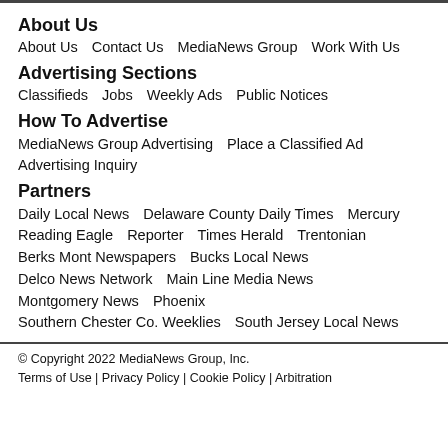About Us
About Us    Contact Us    MediaNews Group    Work With Us
Advertising Sections
Classifieds    Jobs    Weekly Ads    Public Notices
How To Advertise
MediaNews Group Advertising    Place a Classified Ad    Advertising Inquiry
Partners
Daily Local News    Delaware County Daily Times    Mercury    Reading Eagle    Reporter    Times Herald    Trentonian    Berks Mont Newspapers    Bucks Local News    Delco News Network    Main Line Media News    Montgomery News    Phoenix    Southern Chester Co. Weeklies    South Jersey Local News
© Copyright 2022 MediaNews Group, Inc.
Terms of Use | Privacy Policy | Cookie Policy | Arbitration